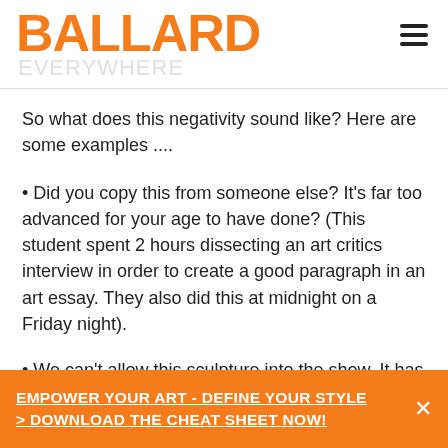BALLARD
So what does this negativity sound like? Here are some examples ....
• Did you copy this from someone else? It's far too advanced for your age to have done? (This student spent 2 hours dissecting an art critics interview in order to create a good paragraph in an art essay. They also did this at midnight on a Friday night).
• We can't allow this sculpture into the show. It has been welded and you couldn't have done this yourself.
EMPOWER YOUR ART - DEFINE YOUR STYLE > DOWNLOAD THE CHEAT SHEET NOW!